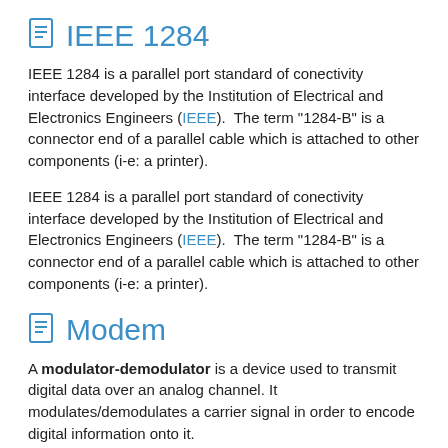IEEE 1284
IEEE 1284 is a parallel port standard of conectivity interface developed by the Institution of Electrical and Electronics Engineers (IEEE).  The term "1284-B" is a connector end of a parallel cable which is attached to other components (i-e: a printer).
IEEE 1284 is a parallel port standard of conectivity interface developed by the Institution of Electrical and Electronics Engineers (IEEE).  The term "1284-B" is a connector end of a parallel cable which is attached to other components (i-e: a printer).
Modem
A modulator-demodulator is a device used to transmit digital data over an analog channel. It modulates/demodulates a carrier signal in order to encode digital information onto it.
A modem is typically used to transmit computer data over POTS phone lines.
A modulator-demodulator is a device used to transmit digital data over an analog channel. It modulates/demodulates a carrier signal